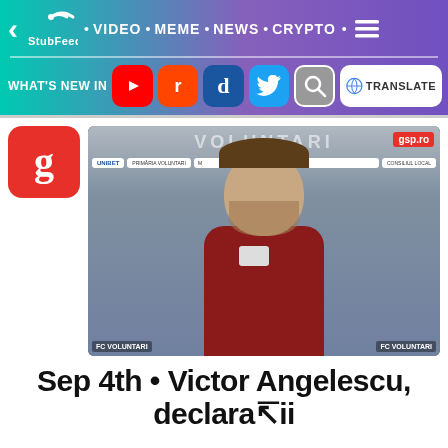StubFeed • VIDEO • MEME • NEWS • CRYPTO
WHAT'S NEW IN [YouTube] [Reddit] [Digg] [Twitter] [Search] [G Translate]
[Figure (screenshot): Thumbnail of Victor Angelescu press conference at FC Voluntari with gsp.ro watermark]
Sep 4th • Victor Angelescu, declarații